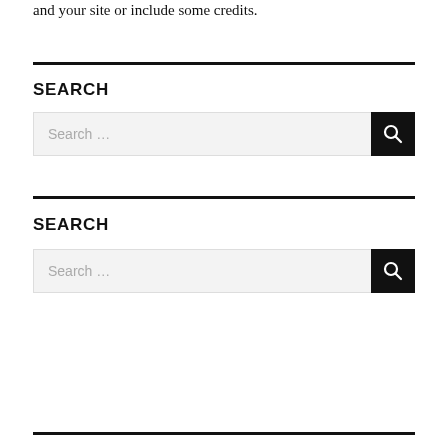and your site or include some credits.
SEARCH
[Figure (screenshot): Search input box with placeholder text 'Search …' and a black button with a magnifying glass icon]
SEARCH
[Figure (screenshot): Search input box with placeholder text 'Search …' and a black button with a magnifying glass icon]